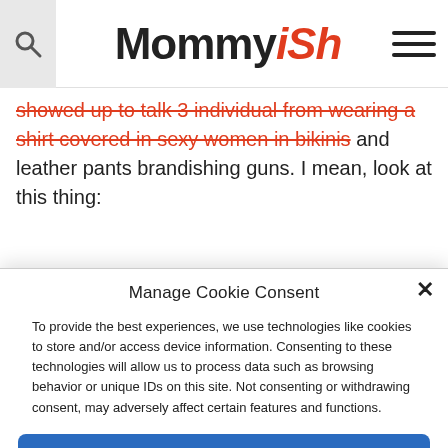Mommyish
showed up to talk 3 minimum from wearing a shirt covered in sexy women in bikinis and leather pants brandishing guns. I mean, look at this thing:
Manage Cookie Consent

To provide the best experiences, we use technologies like cookies to store and/or access device information. Consenting to these technologies will allow us to process data such as browsing behavior or unique IDs on this site. Not consenting or withdrawing consent, may adversely affect certain features and functions.

Accept

Privacy